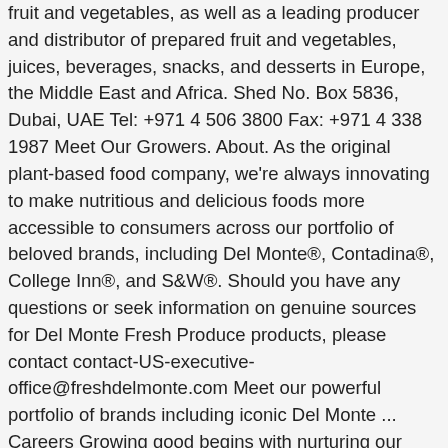fruit and vegetables, as well as a leading producer and distributor of prepared fruit and vegetables, juices, beverages, snacks, and desserts in Europe, the Middle East and Africa. Shed No. Box 5836, Dubai, UAE Tel: +971 4 506 3800 Fax: +971 4 338 1987 Meet Our Growers. About. As the original plant-based food company, we're always innovating to make nutritious and delicious foods more accessible to consumers across our portfolio of beloved brands, including Del Monte®, Contadina®, College Inn®, and S&W®. Should you have any questions or seek information on genuine sources for Del Monte Fresh Produce products, please contact contact-US-executive-office@freshdelmonte.com Meet our powerful portfolio of brands including iconic Del Monte ... Careers Growing good begins with nurturing our own Del Monte ® family. Box 44829 Tel: 009712 6732737 Learn about salary, employee reviews, interviews, benefits, and work-life balance ... Fresh Del Monte Produce markets its fresh products worldwide under the Del Monte brand, a symbol of product quality, freshness and reliability for more than 120 years. Apply to the latest jobs near